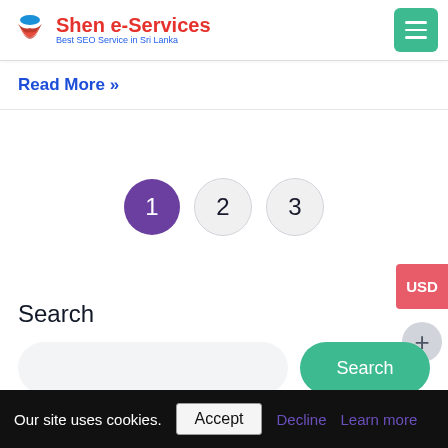[Figure (logo): Shen e-Services logo with red layered shield icon, red brand name 'Shen e-Services' and blue tagline 'Best SEO Service in Sri Lanka']
Read More »
[Figure (infographic): Pagination controls: circle 1 (active/purple), circle 2, circle 3]
USD
Search
Our site uses cookies.
Accept
Decline
Learn more